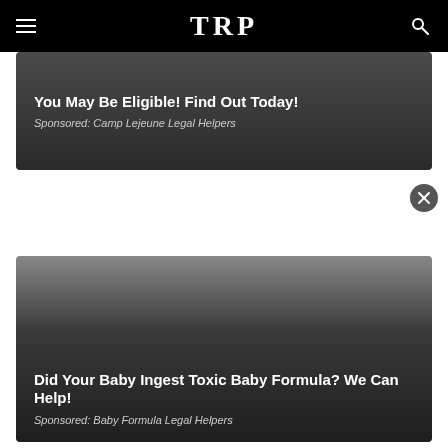TRP
You May Be Eligible! Find Out Today!
Sponsored: Camp Lejeune Legal Helpers
Did Your Baby Ingest Toxic Baby Formula? We Can Help!
Sponsored: Baby Formula Legal Helpers